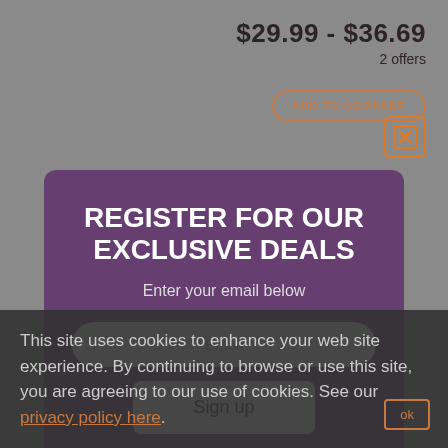$29.99 - $36.69
2 offers
ADD TO COMPARE
REGISTER FOR OUR EXCLUSIVE DEALS
Enter your email below
Email
Sign up
No, I don't want it
This site uses cookies to enhance your web site experience. By continuing to browse or use this site, you are agreeing to our use of cookies. See our privacy policy here.